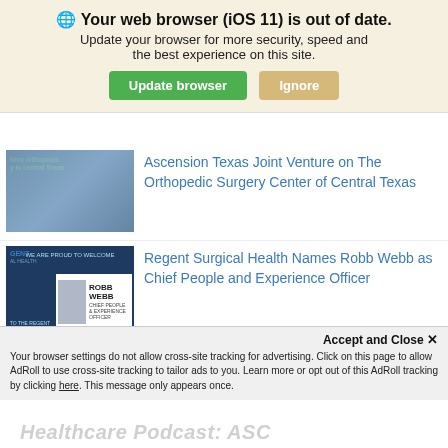Your web browser (iOS 11) is out of date. Update your browser for more security, speed and the best experience on this site.
[Figure (screenshot): Browser update notification banner with green Update browser button and tan Ignore button]
Ascension Texas Joint Venture on The Orthopedic Surgery Center of Central Texas
Regent Surgical Health Names Robb Webb as Chief People and Experience Officer
Why Health Systems are Shifting Care to Surgery Centers
Accept and Close ×
Your browser settings do not allow cross-site tracking for advertising. Click on this page to allow AdRoll to use cross-site tracking to tailor ads to you. Learn more or opt out of this AdRoll tracking by clicking here. This message only appears once.